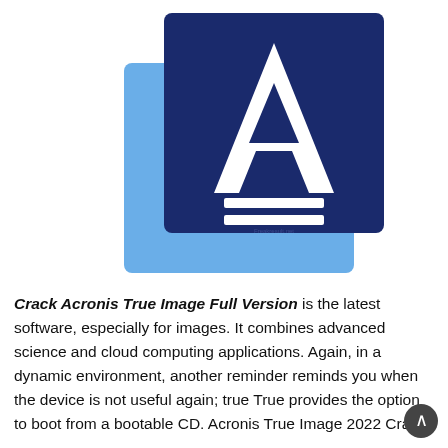[Figure (logo): Acronis logo: two overlapping squares (light blue behind, dark navy in front), with a large white letter A and two horizontal white bars forming an equal sign inside the dark square.]
Crack Acronis True Image Full Version is the latest software, especially for images. It combines advanced science and cloud computing applications. Again, in a dynamic environment, another reminder reminds you when the device is not useful again; true True provides the option to boot from a bootable CD. Acronis True Image 2022 Crack